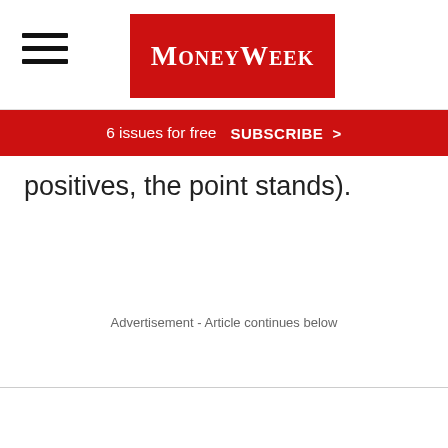MoneyWeek
6 issues for free  SUBSCRIBE >
positives, the point stands).
Advertisement - Article continues below